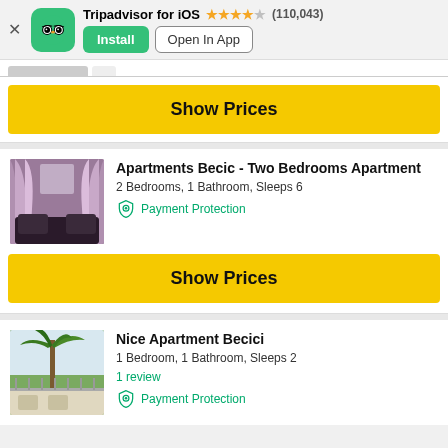[Figure (screenshot): Tripadvisor app banner with owl logo, star rating, Install and Open In App buttons]
[Figure (photo): Apartment interior with pink/mauve curtains and sofa — listing photo for Apartments Becic]
Apartments Becic - Two Bedrooms Apartment
2 Bedrooms, 1 Bathroom, Sleeps 6
Payment Protection
Show Prices
[Figure (photo): Outdoor terrace with palm tree — listing photo for Nice Apartment Becici]
Nice Apartment Becici
1 Bedroom, 1 Bathroom, Sleeps 2
1 review
Payment Protection